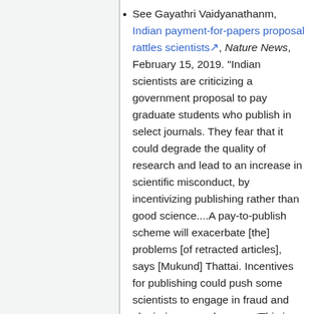See Gayathri Vaidyanathanm, Indian payment-for-papers proposal rattles scientists, Nature News, February 15, 2019. "Indian scientists are criticizing a government proposal to pay graduate students who publish in select journals. They fear that it could degrade the quality of research and lead to an increase in scientific misconduct, by incentivizing publishing rather than good science....A pay-to-publish scheme will exacerbate [the] problems [of retracted articles], says [Mukund] Thattai. Incentives for publishing could push some scientists to engage in fraud and plagiarism, says he says. 'This is an absolute